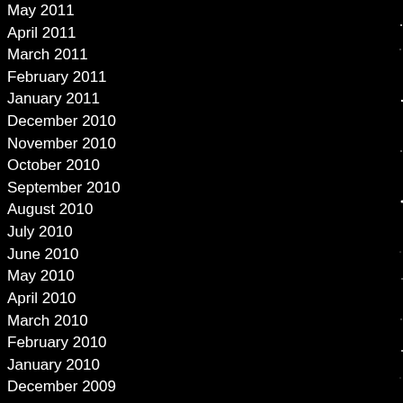May 2011
April 2011
March 2011
February 2011
January 2011
December 2010
November 2010
October 2010
September 2010
August 2010
July 2010
June 2010
May 2010
April 2010
March 2010
February 2010
January 2010
December 2009
November 2009